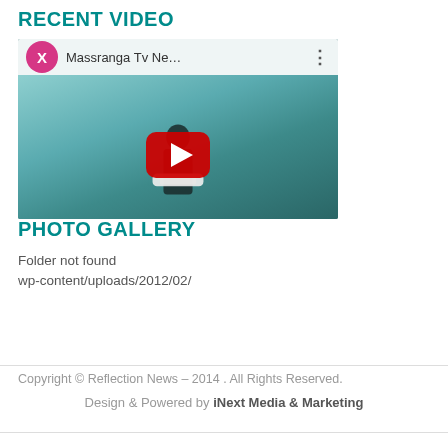RECENT VIDEO
[Figure (screenshot): YouTube video thumbnail showing a person holding papers with a teal background. A pink/magenta circle with X button and title 'Massranga Tv Ne...' in the top bar. Red YouTube play button in center.]
PHOTO GALLERY
Folder not found wp-content/uploads/2012/02/
Copyright © Reflection News – 2014 . All Rights Reserved.
Design & Powered by iNext Media & Marketing